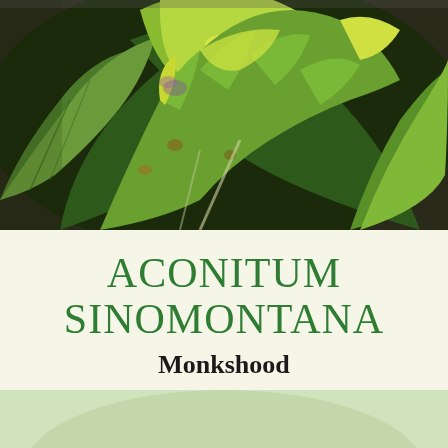[Figure (photo): Close-up photograph of Aconitum sinomontana (Monkshood) plant showing large lobed green leaves with yellow-green coloration and browning edges, set against dark soil background.]
ACONITUM SINOMONTANA
Monkshood
MORE INFO
[Figure (photo): Partial view of another plant card image visible at the bottom of the page, showing light green/pale background.]